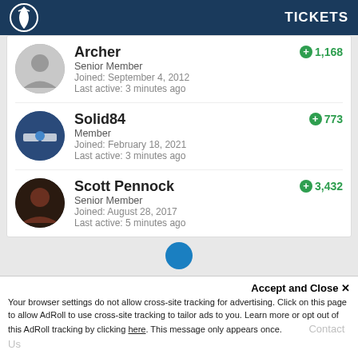TICKETS
Archer
Senior Member
Joined: September 4, 2012
Last active: 3 minutes ago
+1,168
Solid84
Member
Joined: February 18, 2021
Last active: 3 minutes ago
+773
Scott Pennock
Senior Member
Joined: August 28, 2017
Last active: 5 minutes ago
+3,432
Accept and Close ×
Your browser settings do not allow cross-site tracking for advertising. Click on this page to allow AdRoll to use cross-site tracking to tailor ads to you. Learn more or opt out of this AdRoll tracking by clicking here. This message only appears once.